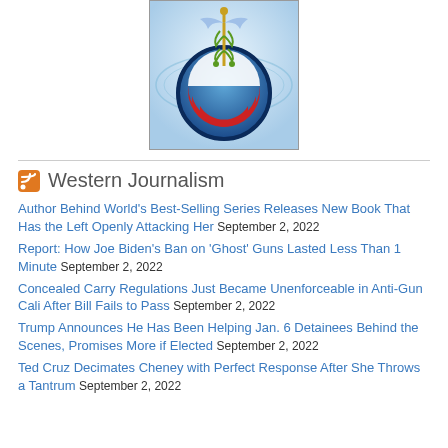[Figure (illustration): Obamacare / healthcare logo image: blue circular emblem with caduceus (medical staff with wings and snakes) on top, and the Obama campaign logo (blue circle with red and white stripes) inside, on a light blue background with a rectangular border.]
Western Journalism
Author Behind World’s Best-Selling Series Releases New Book That Has the Left Openly Attacking Her September 2, 2022
Report: How Joe Biden’s Ban on ‘Ghost’ Guns Lasted Less Than 1 Minute September 2, 2022
Concealed Carry Regulations Just Became Unenforceable in Anti-Gun Cali After Bill Fails to Pass September 2, 2022
Trump Announces He Has Been Helping Jan. 6 Detainees Behind the Scenes, Promises More if Elected September 2, 2022
Ted Cruz Decimates Cheney with Perfect Response After She Throws a Tantrum September 2, 2022